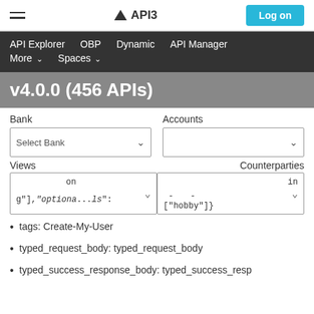API3 — Log on
API Explorer  OBP  Dynamic  API Manager  More  Spaces
v4.0.0 (456 APIs)
Bank  Accounts  Select Bank  Views  Counterparties
g"],"optiona...ls": ["hobby"]}  on  in
tags: Create-My-User
typed_request_body: typed_request_body
typed_success_response_body: typed_success_resp